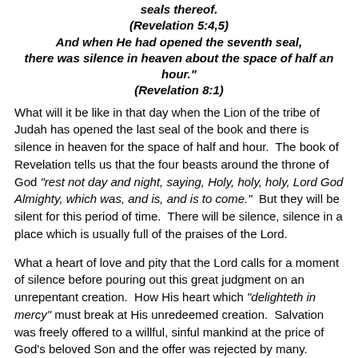seals thereof.
(Revelation 5:4,5)
And when He had opened the seventh seal, there was silence in heaven about the space of half an hour."
(Revelation 8:1)
What will it be like in that day when the Lion of the tribe of Judah has opened the last seal of the book and there is silence in heaven for the space of half and hour.  The book of Revelation tells us that the four beasts around the throne of God "rest not day and night, saying, Holy, holy, holy, Lord God Almighty, which was, and is, and is to come."  But they will be silent for this period of time.  There will be silence, silence in a place which is usually full of the praises of the Lord.
What a heart of love and pity that the Lord calls for a moment of silence before pouring out this great judgment on an unrepentant creation.  How His heart which "delighteth in mercy" must break at His unredeemed creation.  Salvation was freely offered to a willful, sinful mankind at the price of God's beloved Son and the offer was rejected by many.